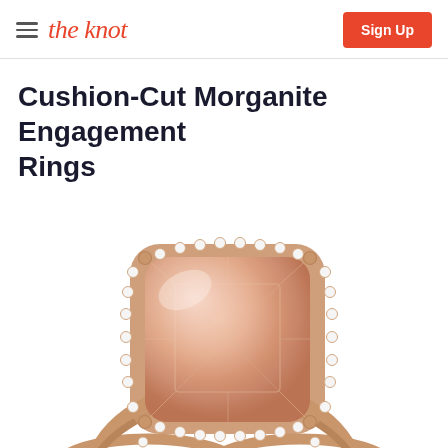the knot | Sign Up
Cushion-Cut Morganite Engagement Rings
[Figure (photo): Close-up photograph of a cushion-cut morganite engagement ring with a rose gold band and diamond halo setting. The large peach-pink morganite gemstone is center-set with a pavé diamond halo surrounding it, and small diamonds along the band.]